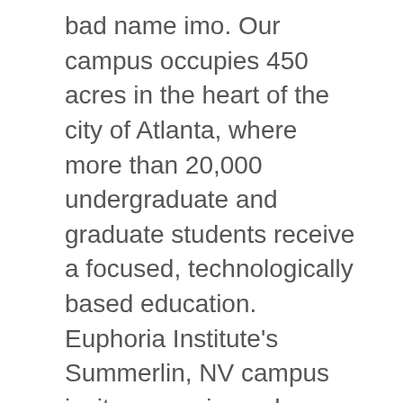bad name imo. Our campus occupies 450 acres in the heart of the city of Atlanta, where more than 20,000 undergraduate and graduate students receive a focused, technologically based education. Euphoria Institute's Summerlin, NV campus invites experienced Cosmetologists, Aestheticians, and Nail Technicians to pass along their art to future stylists. Create Job Alert. 1-Click Job Application allows you to apply to 127 jobs at LINCOLN TECHNICAL INSTITUTE that are hiring near you on ZipRecruiter. Shortlist. salaries, bonuses, reviews, benefits, and more! 2,143 Lincoln Tech jobs available on Indeed.com. Lincoln Public Schools serves over 42,000 students, Pre-Kindergarten through 12th grade, ... Internal postings are not included in the weekly Job Alert email. All Rights Reserved. 8 Lincoln Tech jobs including salaries, ratings, and reviews, posted by Lincoln Tech